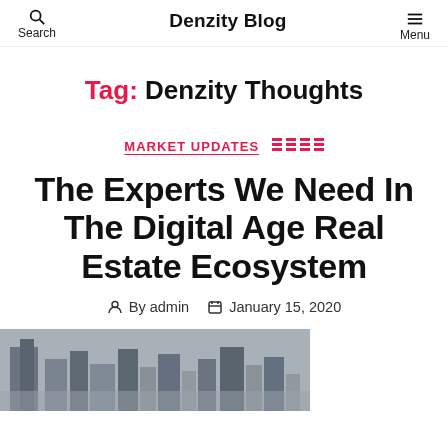Denzity Blog
Tag: Denzity Thoughts
MARKET UPDATES
The Experts We Need In The Digital Age Real Estate Ecosystem
By admin  January 15, 2020
[Figure (photo): Partial view of a city skyline photograph, showing buildings in black and white/grayscale tones, cut off at the bottom of the page]